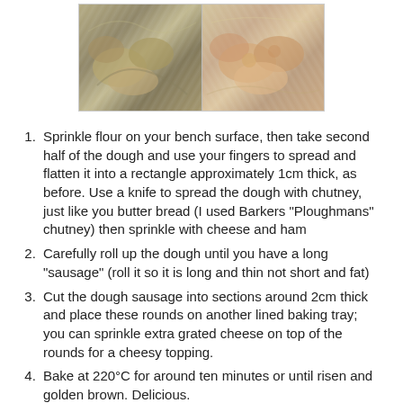[Figure (photo): Two food photos side by side: left shows dough parcels wrapped in foil, right shows baked cheesy bread rounds in plastic wrap.]
Sprinkle flour on your bench surface, then take second half of the dough and use your fingers to spread and flatten it into a rectangle approximately 1cm thick, as before. Use a knife to spread the dough with chutney, just like you butter bread (I used Barkers "Ploughmans" chutney) then sprinkle with cheese and ham
Carefully roll up the dough until you have a long "sausage" (roll it so it is long and thin not short and fat)
Cut the dough sausage into sections around 2cm thick and place these rounds on another lined baking tray; you can sprinkle extra grated cheese on top of the rounds for a cheesy topping.
Bake at 220°C for around ten minutes or until risen and golden brown. Delicious.